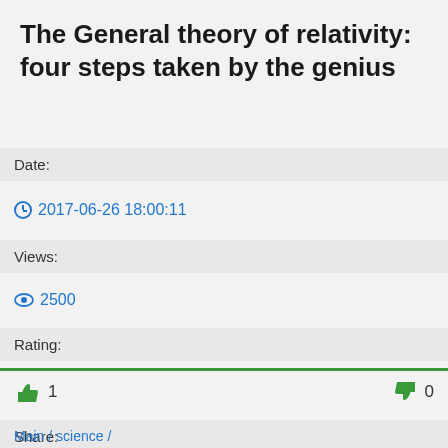The General theory of relativity: four steps taken by the genius
Date:
2017-06-26 18:00:11
Views:
2500
Rating:
1  0
Share:
Main / science /